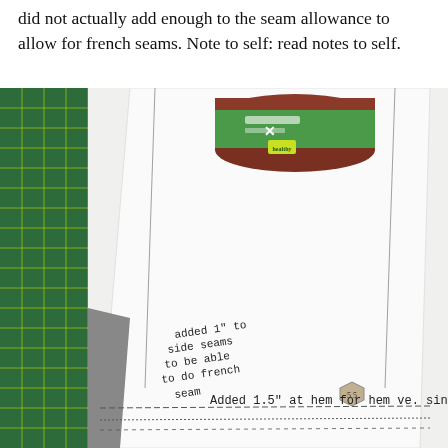did not actually add enough to the seam allowance to allow for french seams. Note to self: read notes to self.
[Figure (photo): Photo of a sewing pattern piece laid on a cutting mat. A can of food (green label, looks like Ro-Tel or similar) sits at the top. On the white pattern paper, handwritten notes read: 'added 1" to side seams to be able to do french seam' and near the bottom 'Added 1.5" at hem for hem version'. A hexagonal notch marker labeled '5 5' is visible on the pattern.]